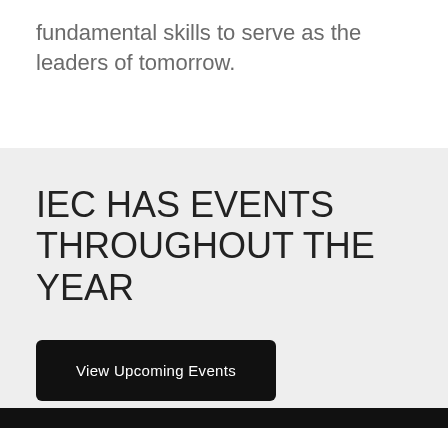fundamental skills to serve as the leaders of tomorrow.
IEC HAS EVENTS THROUGHOUT THE YEAR
View Upcoming Events